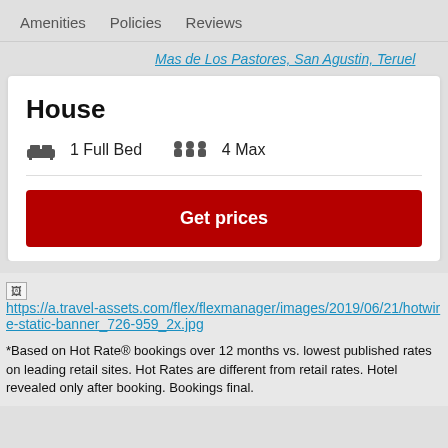Amenities   Policies   Reviews
Mas de Los Pastores, San Agustin, Teruel
House
1 Full Bed   4 Max
Get prices
[Figure (other): Broken image link: https://a.travel-assets.com/flex/flexmanager/images/2019/06/21/hotwire-static-banner_726-959_2x.jpg]
*Based on Hot Rate® bookings over 12 months vs. lowest published rates on leading retail sites. Hot Rates are different from retail rates. Hotel revealed only after booking. Bookings final.